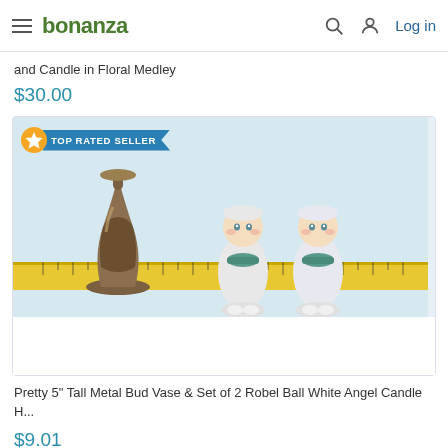bonanza — Log in
and Candle in Floral Medley
$30.00
[Figure (photo): Product listing card with Top Rated Seller badge showing a bronze/metal bud vase and two white angel candle holders on a yellow measuring tape, on light blue background]
Pretty 5" Tall Metal Bud Vase & Set of 2 Robel Ball White Angel Candle H...
$9.01
[Figure (photo): Partial product card with Top Rated Seller badge, bottom of page]